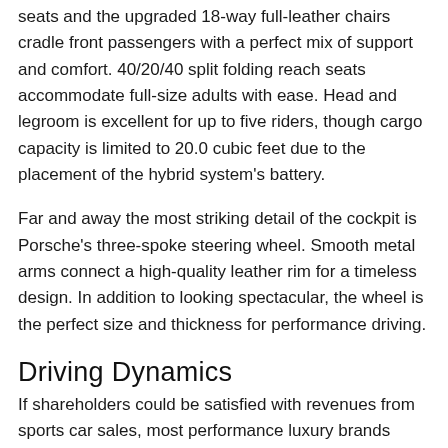seats and the upgraded 18-way full-leather chairs cradle front passengers with a perfect mix of support and comfort. 40/20/40 split folding reach seats accommodate full-size adults with ease. Head and legroom is excellent for up to five riders, though cargo capacity is limited to 20.0 cubic feet due to the placement of the hybrid system's battery.
Far and away the most striking detail of the cockpit is Porsche's three-spoke steering wheel. Smooth metal arms connect a high-quality leather rim for a timeless design. In addition to looking spectacular, the wheel is the perfect size and thickness for performance driving.
Driving Dynamics
If shareholders could be satisfied with revenues from sports car sales, most performance luxury brands would simply stick to what they know best. Alas, if there's a dollar to be made in a new segment, chances are a vehicle is already in development.